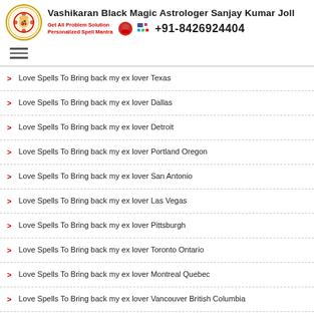[Figure (logo): Vashikaran Black Magic Astrologer Sanjay Kumar Joll website header with logo, subtitle text, social icons, and phone number +91-8426924404]
Love Spells To Bring back my ex lover Texas
Love Spells To Bring back my ex lover Dallas
Love Spells To Bring back my ex lover Detroit
Love Spells To Bring back my ex lover Portland Oregon
Love Spells To Bring back my ex lover San Antonio
Love Spells To Bring back my ex lover Las Vegas
Love Spells To Bring back my ex lover Pittsburgh
Love Spells To Bring back my ex lover Toronto Ontario
Love Spells To Bring back my ex lover Montreal Quebec
Love Spells To Bring back my ex lover Vancouver British Columbia
Love Spells To Bring back my ex lover Calgary Alberta
Love Spells To Bring back my ex lover Edmonton
Love Spells To Bring back my ex lover Ottawa-Gatineau